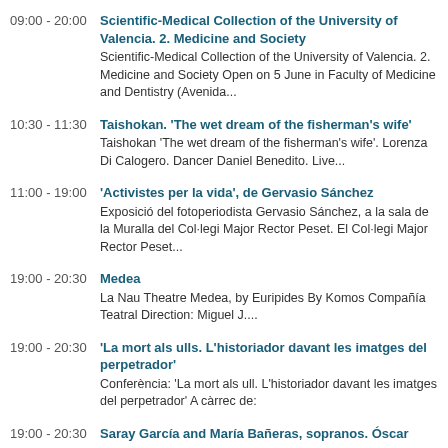09:00 - 20:00 | Scientific-Medical Collection of the University of Valencia. 2. Medicine and Society | Scientific-Medical Collection of the University of Valencia. 2. Medicine and Society Open on 5 June in Faculty of Medicine and Dentistry (Avenida...
10:30 - 11:30 | Taishokan. 'The wet dream of the fisherman's wife' | Taishokan 'The wet dream of the fisherman's wife'. Lorenza Di Calogero. Dancer Daniel Benedito. Live...
11:00 - 19:00 | 'Activistes per la vida', de Gervasio Sánchez | Exposició del fotoperiodista Gervasio Sánchez, a la sala de la Muralla del Col·legi Major Rector Peset. El Col·legi Major Rector Peset...
19:00 - 20:30 | Medea | La Nau Theatre Medea, by Euripides By Komos Compañía Teatral Direction: Miguel J....
19:00 - 20:30 | 'La mort als ulls. L'historiador davant les imatges del perpetrador' | Conferència:  'La mort als ull. L'historiador davant les imatges del perpetrador' A càrrec de:
19:00 - 20:30 | Saray García and María Bañeras, sopranos. Óscar